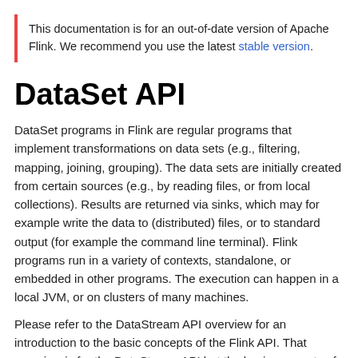This documentation is for an out-of-date version of Apache Flink. We recommend you use the latest stable version.
DataSet API
DataSet programs in Flink are regular programs that implement transformations on data sets (e.g., filtering, mapping, joining, grouping). The data sets are initially created from certain sources (e.g., by reading files, or from local collections). Results are returned via sinks, which may for example write the data to (distributed) files, or to standard output (for example the command line terminal). Flink programs run in a variety of contexts, standalone, or embedded in other programs. The execution can happen in a local JVM, or on clusters of many machines.
Please refer to the DataStream API overview for an introduction to the basic concepts of the Flink API. That overview is for the DataStream API but the basic concepts of the two APIs are the same.